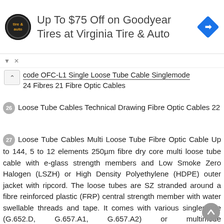[Figure (other): Advertisement banner: Virginia Tire & Auto logo, text 'Up To $75 Off on Goodyear Tires at Virginia Tire & Auto', blue navigation icon]
code OFC-L1 Single Loose Tube Cable Singlemode 24 Fibres 21 Fibre Optic Cables
26 Loose Tube Cables Technical Drawing Fibre Optic Cables 22
27 Loose Tube Cables Multi Loose Tube Fibre Optic Cable Up to 144, 5 to 12 elements 250µm fibre dry core multi loose tube cable with e-glass strength members and Low Smoke Zero Halogen (LSZH) or High Density Polyethylene (HDPE) outer jacket with ripcord. The loose tubes are SZ stranded around a fibre reinforced plastic (FRP) central strength member with water swellable threads and tape. It comes with various singlemode (G.652.D, G.657.A1, G.657.A2) or multimode (OM1/OM2/OM3/OM4) fibre options. Features 250µm loose tube Rodent resistant using e-glass strength members Available with various fibre options Colour coded fibres Option for LSZH or PE